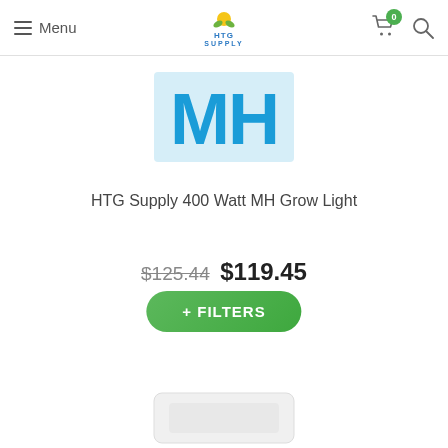Menu | HTG Supply | Cart (0) | Search
[Figure (logo): MH logo in blue block letters]
HTG Supply 400 Watt MH Grow Light
$125.44 $119.45
+ FILTERS